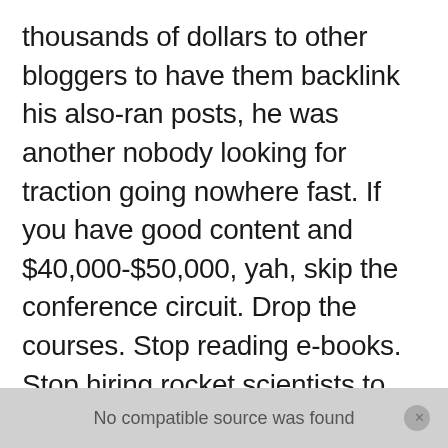thousands of dollars to other bloggers to have them backlink his also-ran posts, he was another nobody looking for traction going nowhere fast. If you have good content and $40,000-$50,000, yah, skip the conference circuit. Drop the courses. Stop reading e-books. Stop hiring rocket scientists to reverse engineer Google search algorithms. And get off those email lists. Do what Neil did. Bulldoze your way to the top with money.. Call it smart. Call it scammy. Organic search just won't get you there. The mommy bloggers who act